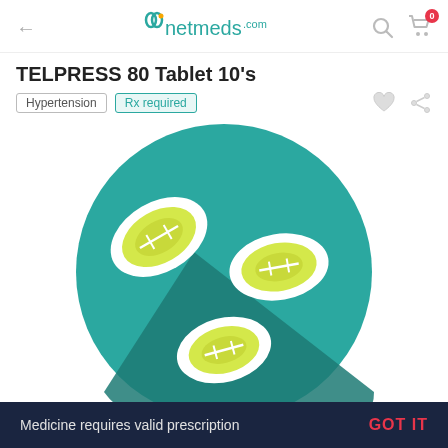← netmeds.com 🔍 🛒 0
TELPRESS 80 Tablet 10's
Hypertension  Rx required
[Figure (illustration): Three yellow oval tablets with score lines arranged on a teal circular background with shadow effect]
Medicine requires valid prescription  GOT IT